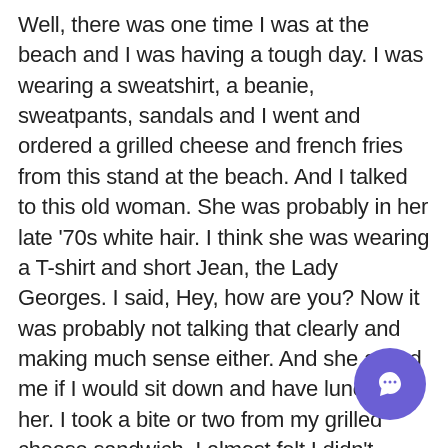Well, there was one time I was at the beach and I was having a tough day. I was wearing a sweatshirt, a beanie, sweatpants, sandals and I went and ordered a grilled cheese and french fries from this stand at the beach. And I talked to this old woman. She was probably in her late '70s white hair. I think she was wearing a T-shirt and short Jean, the Lady Georges. I said, Hey, how are you? Now it was probably not talking that clearly and making much sense either. And she asked me if I would sit down and have lunch with her. I took a bite or two from my grilled cheese sandwich. I almost felt I didn't deserve that food, and I said to her, I think I'm going to feed the rest of the birds. And she said to me, Don't feed the birds, just eat your food. And th ultimately fed the birds. She went, Oh, I like feeling
[Figure (other): Purple circular chat/message button icon in the bottom-right corner]